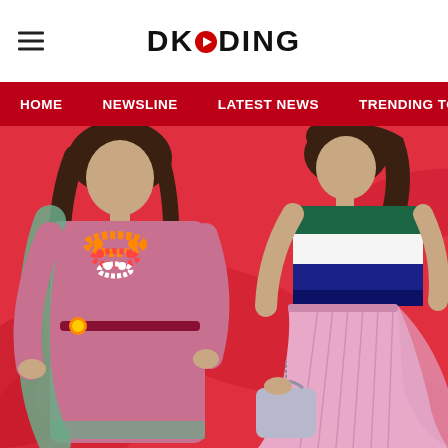DKODING
HOME  NEWSLINE  LATEST NEWS  TRENDING TODAY  ENT
[Figure (photo): Two fashion images side by side on a red background: left shows a woman wearing a colorful Indian-style printed dress with floral garlands (marigold and rose garlands), right shows a woman in a striped green/blue/white top and pink pleated skirt carrying a silver handbag]